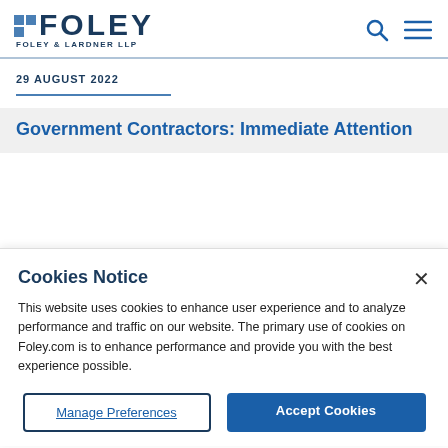[Figure (logo): Foley & Lardner LLP logo with blue squares and bold FOLEY text]
29 AUGUST 2022
Government Contractors: Immediate Attention
Cookies Notice
This website uses cookies to enhance user experience and to analyze performance and traffic on our website. The primary use of cookies on Foley.com is to enhance performance and provide you with the best experience possible.
Manage Preferences
Accept Cookies